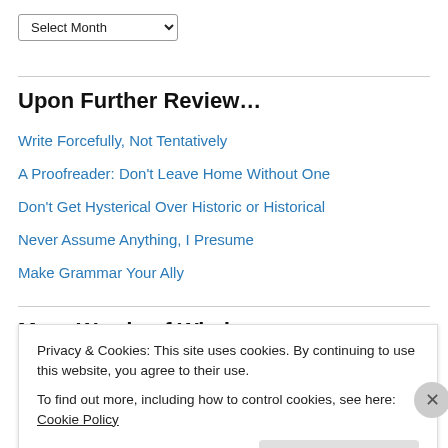Select Month
Upon Further Review…
Write Forcefully, Not Tentatively
A Proofreader: Don't Leave Home Without One
Don't Get Hysterical Over Historic or Historical
Never Assume Anything, I Presume
Make Grammar Your Ally
More Words of Wisdom
Privacy & Cookies: This site uses cookies. By continuing to use this website, you agree to their use. To find out more, including how to control cookies, see here: Cookie Policy
Close and accept